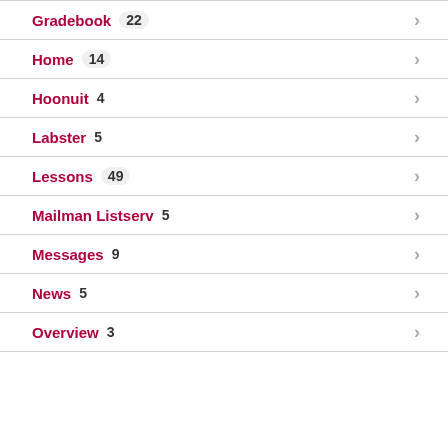Gradebook 22
Home 14
Hoonuit 4
Labster 5
Lessons 49
Mailman Listserv 5
Messages 9
News 5
Overview 3